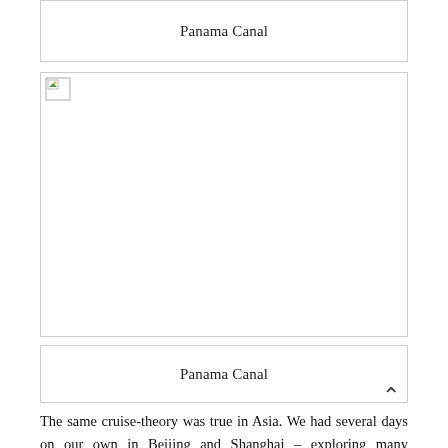Panama Canal
[Figure (photo): Broken/missing image placeholder for Panama Canal photo]
Panama Canal
The same cruise-theory was true in Asia. We had several days on our own in Beijing and Shanghai – exploring many highlights like the Great Wall of China and the Terracotta